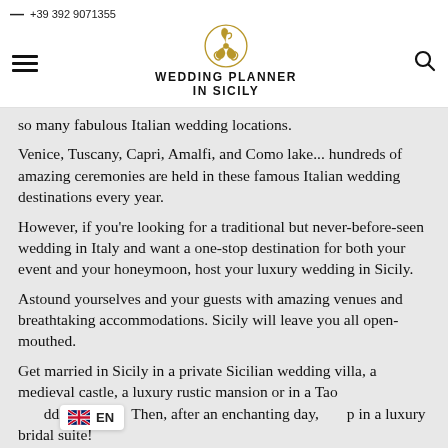— +39 392 9071355 | WEDDING PLANNER IN SICILY
so many fabulous Italian wedding locations.
Venice, Tuscany, Capri, Amalfi, and Como lake... hundreds of amazing ceremonies are held in these famous Italian wedding destinations every year.
However, if you're looking for a traditional but never-before-seen wedding in Italy and want a one-stop destination for both your event and your honeymoon, host your luxury wedding in Sicily.
Astound yourselves and your guests with amazing venues and breathtaking accommodations. Sicily will leave you all open-mouthed.
Get married in Sicily in a private Sicilian wedding villa, a medieval castle, a luxury rustic mansion or in a Taormina wedding venue.  Then, after an enchanting day, sleep in a luxury bridal suite!